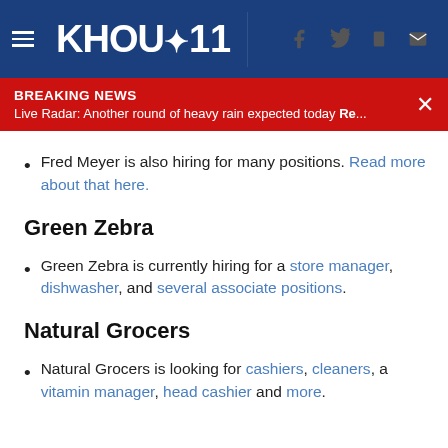KHOU 11
BREAKING NEWS
Live Radar: Another round of heavy rain expected today Re...
Fred Meyer is also hiring for many positions. Read more about that here.
Green Zebra
Green Zebra is currently hiring for a store manager, dishwasher, and several associate positions.
Natural Grocers
Natural Grocers is looking for cashiers, cleaners, a vitamin manager, head cashier and more.